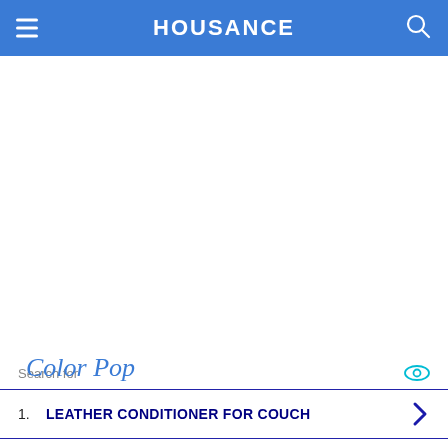HOUSANCE
Color Pop
Search for
1. LEATHER CONDITIONER FOR COUCH
2. LEATHER COUCH REPAIR
Yahoo! Search | Sponsored